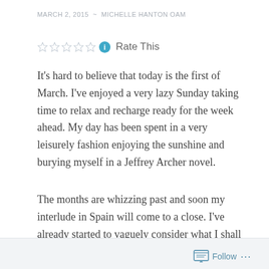MARCH 2, 2015  ~  MICHELLE HANTON OAM
Rate This
It's hard to believe that today is the first of March. I've enjoyed a very lazy Sunday taking time to relax and recharge ready for the week ahead. My day has been spent in a very leisurely fashion enjoying the sunshine and burying myself in a Jeffrey Archer novel.
The months are whizzing past and soon my interlude in Spain will come to a close. I've already started to vaguely consider what I shall do post June and to be honest, I'm not sure precisely what it is I'd like to do but no doubt something interesting will
Follow